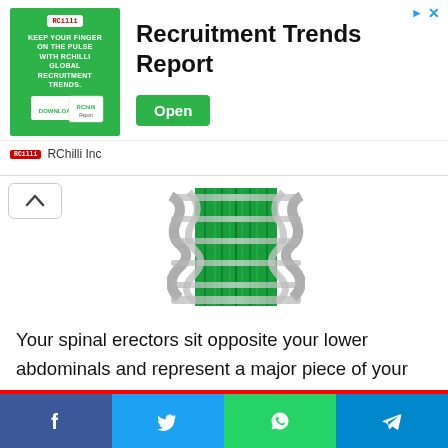[Figure (screenshot): Advertisement banner for RChilli Recruitment Trends Report with green background image, bold title 'Recruitment Trends Report', and green 'Open' button. Shows 'RChilli Inc' branding at bottom.]
[Figure (photo): Medical image of spinal erector muscles or spinal implant device — metallic lattice cage with green fibrous material (muscle/tissue) running vertically through it, viewed from above.]
Your spinal erectors sit opposite your lower abdominals and represent a major piece of your “core”. Your spinal erectors need to be strong enough to prevent your lower
[Figure (infographic): Social share bar with four buttons: Facebook (blue), Twitter (light blue), WhatsApp (green), Telegram (dark blue), each with respective icons.]